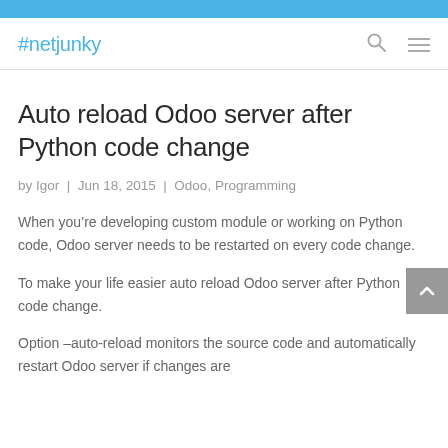#netjunky
Auto reload Odoo server after Python code change
by Igor | Jun 18, 2015 | Odoo, Programming
When you’re developing custom module or working on Python code, Odoo server needs to be restarted on every code change.
To make your life easier auto reload Odoo server after Python code change.
Option –auto-reload monitors the source code and automatically restart Odoo server if changes are